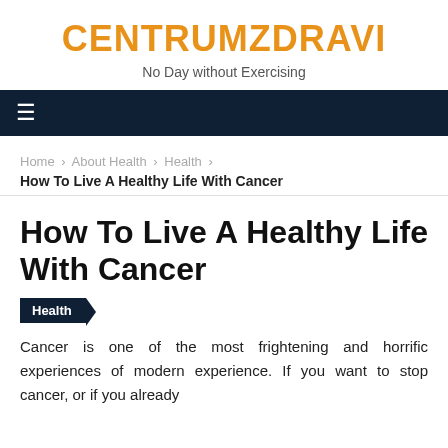CENTRUMZDRAVI
No Day without Exercising
[Figure (other): Dark navy navigation bar with hamburger menu icon]
Home › About Health › Health › How To Live A Healthy Life With Cancer
How To Live A Healthy Life With Cancer
Health
Cancer is one of the most frightening and horrific experiences of modern experience. If you want to stop cancer, or if you already